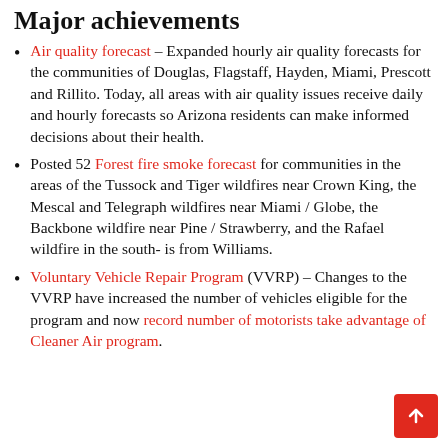Major achievements
Air quality forecast – Expanded hourly air quality forecasts for the communities of Douglas, Flagstaff, Hayden, Miami, Prescott and Rillito. Today, all areas with air quality issues receive daily and hourly forecasts so Arizona residents can make informed decisions about their health.
Posted 52 Forest fire smoke forecast for communities in the areas of the Tussock and Tiger wildfires near Crown King, the Mescal and Telegraph wildfires near Miami / Globe, the Backbone wildfire near Pine / Strawberry, and the Rafael wildfire in the south- is from Williams.
Voluntary Vehicle Repair Program (VVRP) – Changes to the VVRP have increased the number of vehicles eligible for the program and now record number of motorists take advantage of Cleaner Air program.